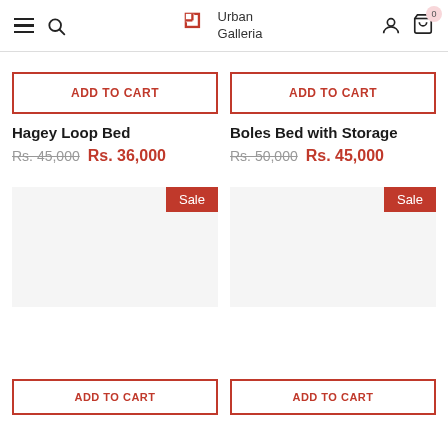Urban Galleria
ADD TO CART
Hagey Loop Bed Rs. 45,000 Rs. 36,000
ADD TO CART
Boles Bed with Storage Rs. 50,000 Rs. 45,000
[Figure (other): Sale badge (left product)]
[Figure (other): Sale badge (right product)]
[Figure (photo): Product image placeholder (left)]
[Figure (photo): Product image placeholder (right)]
ADD TO CART
ADD TO CART